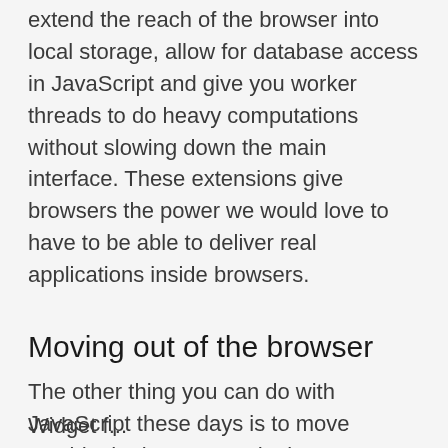extend the reach of the browser into local storage, allow for database access in JavaScript and give you worker threads to do heavy computations without slowing down the main interface. These extensions give browsers the power we would love to have to be able to deliver real applications inside browsers.
Moving out of the browser
The other thing you can do with JavaScript these days is to move outside the browser and take your HTML, CSS and JavaScript solutions to other platforms.
Widget f...